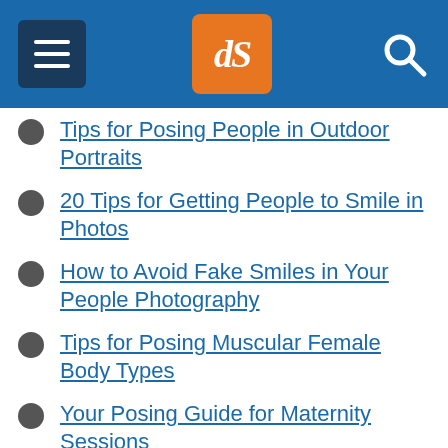[Figure (screenshot): Website header with hamburger menu icon on dark blue background, orange dPS logo in center, and search icon on right, all on blue background bar.]
Tips for Posing People in Outdoor Portraits
20 Tips for Getting People to Smile in Photos
How to Avoid Fake Smiles in Your People Photography
Tips for Posing Muscular Female Body Types
Your Posing Guide for Maternity Sessions
Handiwork: How to Pose Hands
Your Guide to Posing Bands in Photography
Posing Tip for Portraits – Which Way Should Your Subject Lean?
Posing Tips – Waistlines, Thighs and Bustlines